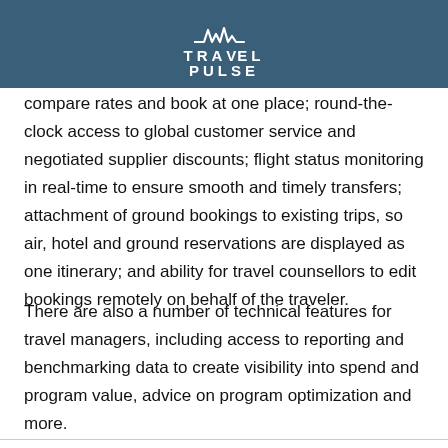TravelPulse
compare rates and book at one place; round-the-clock access to global customer service and negotiated supplier discounts; flight status monitoring in real-time to ensure smooth and timely transfers; attachment of ground bookings to existing trips, so air, hotel and ground reservations are displayed as one itinerary; and ability for travel counsellors to edit bookings remotely on behalf of the traveler.
There are also a number of technical features for travel managers, including access to reporting and benchmarking data to create visibility into spend and program value, advice on program optimization and more.